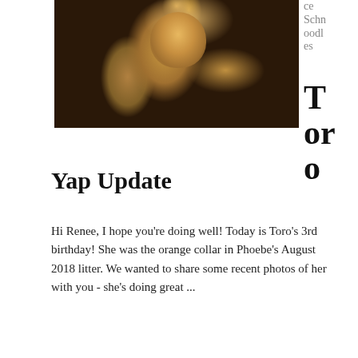[Figure (photo): A curly-haired golden/apricot dog (Schnoodle) looking up at the camera, sitting on a dark leather surface.]
ce Schnoodles
Toro
Yap Update
Hi Renee, I hope you're doing well! Today is Toro's 3rd birthday! She was the orange collar in Phoebe's August 2018 litter. We wanted to share some recent photos of her with you - she's doing great ...